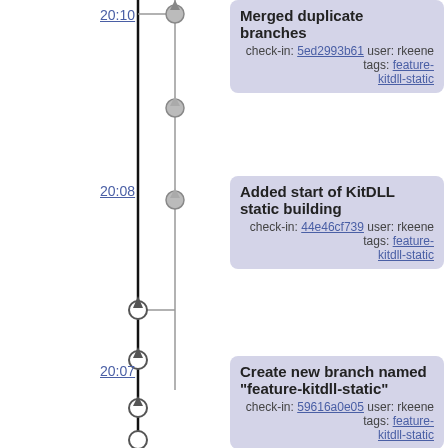[Figure (flowchart): Version control timeline with branching graph showing commits on trunk and feature-kitdll-static branch, with circles for nodes and arrows indicating direction.]
20:10 - Merged duplicate branches
check-in: 5ed2993b61 user: rkeene tags: feature-kitdll-static
20:08 - Added start of KitDLL static building
check-in: 44e46cf739 user: rkeene tags: feature-kitdll-static
20:07 - Create new branch named "feature-kitdll-static"
check-in: 59616a0e05 user: rkeene tags: feature-kitdll-static
20:00 - Added Tcl 8.5.19 to the web interface
check-in: f71b69d91f user: rkeene tags: trunk
19:59 - Added some hashes for individual packages
check-in: 3c71954242 user: rkeene tags: trunk
19:39 - Added common downloader script
check-in: d9b5ef323c user: rkeene tags: trunk
19:38 - ...